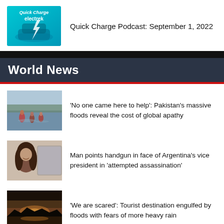[Figure (logo): Quick Charge electrek podcast thumbnail with teal/cyan gradient background and text 'Quick Charge electrek']
Quick Charge Podcast: September 1, 2022
World News
[Figure (photo): People wading through floodwaters in Pakistan]
'No one came here to help': Pakistan's massive floods reveal the cost of global apathy
[Figure (photo): Woman with dark hair, related to Argentina vice president assassination attempt story]
Man points handgun in face of Argentina's vice president in 'attempted assassination'
[Figure (photo): Scenic flooded landscape at sunset/dusk with dark sky]
'We are scared': Tourist destination engulfed by floods with fears of more heavy rain